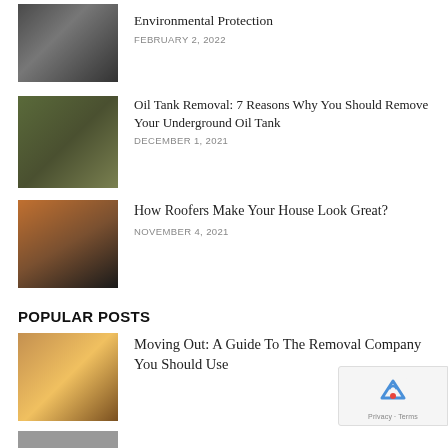[Figure (photo): Coiled metal pipes or hose in a storage area]
Environmental Protection
FEBRUARY 2, 2022
[Figure (photo): Excavated underground oil tank being removed from ground]
Oil Tank Removal: 7 Reasons Why You Should Remove Your Underground Oil Tank
DECEMBER 1, 2021
[Figure (photo): Roofer wearing gloves working on roof tiles]
How Roofers Make Your House Look Great?
NOVEMBER 4, 2021
POPULAR POSTS
[Figure (photo): Family moving out of house with boxes, warm sunlight through doorway]
Moving Out: A Guide To The Removal Company You Should Use
[Figure (photo): Partially visible image at bottom of page]